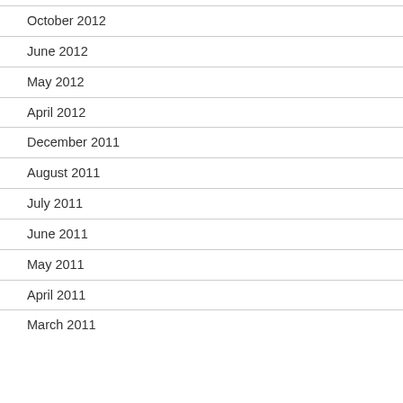October 2012
June 2012
May 2012
April 2012
December 2011
August 2011
July 2011
June 2011
May 2011
April 2011
March 2011